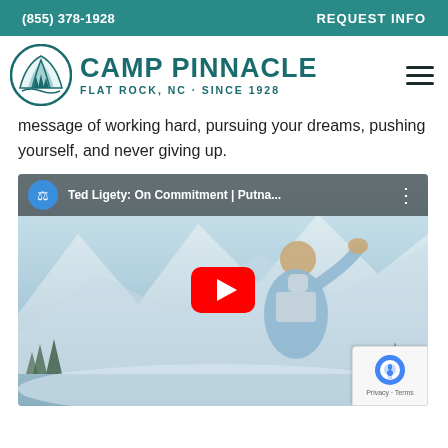(855) 378-1928    REQUEST INFO
[Figure (logo): Camp Pinnacle logo with mountain/tree emblem and text 'CAMP PINNACLE FLAT ROCK, NC · SINCE 1928']
message of working hard, pursuing your dreams, pushing yourself, and never giving up.
[Figure (screenshot): YouTube video thumbnail showing Ted Ligety: On Commitment | Putna... with a skier athlete in winter setting]